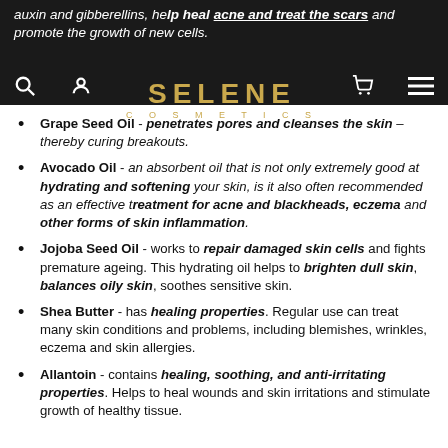SELENE COSMETICS
Grape Seed Oil - penetrates pores and cleanses the skin – thereby curing breakouts.
Avocado Oil - an absorbent oil that is not only extremely good at hydrating and softening your skin, is it also often recommended as an effective treatment for acne and blackheads, eczema and other forms of skin inflammation.
Jojoba Seed Oil - works to repair damaged skin cells and fights premature ageing. This hydrating oil helps to brighten dull skin, balances oily skin, soothes sensitive skin.
Shea Butter - has healing properties. Regular use can treat many skin conditions and problems, including blemishes, wrinkles, eczema and skin allergies.
Allantoin - contains healing, soothing, and anti-irritating properties. Helps to heal wounds and skin irritations and stimulate growth of healthy tissue.